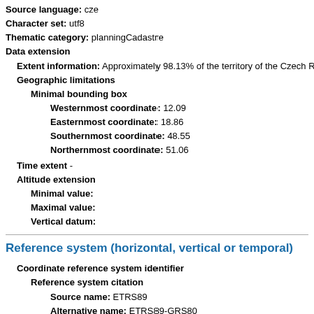Source language: cze
Character set: utf8
Thematic category: planningCadastre
Data extension
Extent information: Approximately 98.13% of the territory of the Czech R
Geographic limitations
Minimal bounding box
Westernmost coordinate: 12.09
Easternmost coordinate: 18.86
Southernmost coordinate: 48.55
Northernmost coordinate: 51.06
Time extent -
Altitude extension
Minimal value:
Maximal value:
Vertical datum:
Reference system (horizontal, vertical or temporal)
Coordinate reference system identifier
Reference system citation
Source name: ETRS89
Alternative name: ETRS89-GRS80
Reference date
Reference date: 2009-03-01